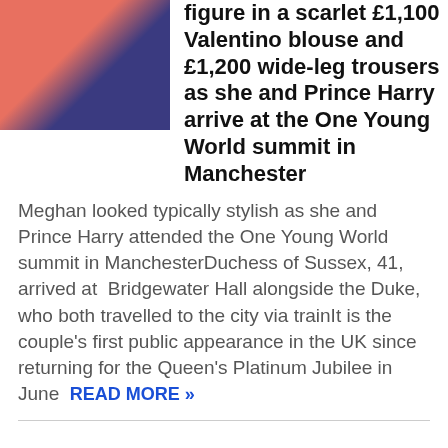[Figure (photo): Photo of Meghan Markle in a scarlet outfit with Prince Harry in a dark suit, cropped at top.]
figure in a scarlet £1,100 Valentino blouse and £1,200 wide-leg trousers as she and Prince Harry arrive at the One Young World summit in Manchester
Meghan looked typically stylish as she and Prince Harry attended the One Young World summit in ManchesterDuchess of Sussex, 41, arrived at  Bridgewater Hall alongside the Duke, who both travelled to the city via trainIt is the couple's first public appearance in the UK since returning for the Queen's Platinum Jubilee in June  READ MORE »